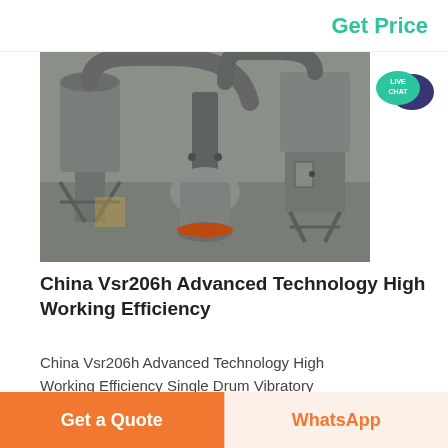Get Price
[Figure (photo): Industrial milling/grinding machinery with large ductwork, pipes, and processing equipment in a factory setting. Multiple cyclone separators, duct bends, and a central cylindrical grinding unit visible.]
China Vsr206h Advanced Technology High Working Efficiency
China Vsr206h Advanced Technology High Working Efficiency Single Drum Vibratory
Get a Quote | WhatsApp